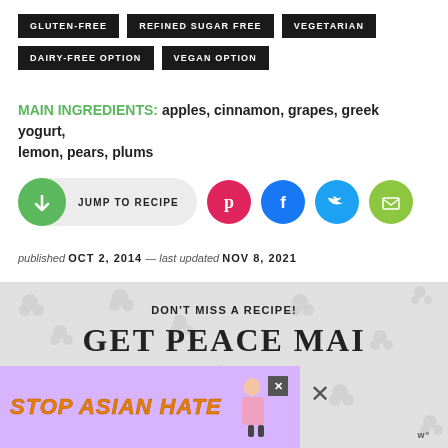GLUTEN-FREE
REFINED SUGAR FREE
VEGETARIAN
DAIRY-FREE OPTION
VEGAN OPTION
MAIN INGREDIENTS: apples, cinnamon, grapes, greek yogurt, lemon, pears, plums
JUMP TO RECIPE
published OCT 2, 2014 — last updated NOV 8, 2021
[Figure (screenshot): Bottom section showing DON'T MISS A RECIPE! GET PEACE MAI... text on marble background with a STOP ASIAN HATE advertisement banner overlaid]
DON'T MISS A RECIPE!
GET PEACE MAI
STOP ASIAN HATE